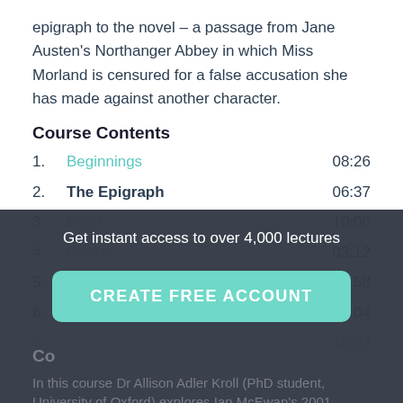epigraph to the novel – a passage from Jane Austen's Northanger Abbey in which Miss Morland is censured for a false accusation she has made against another character.
Course Contents
1.  Beginnings  08:26
2.  The Epigraph  06:37
3.  Form  10:06
4.  Genre  03:12
5.  Characters  10:58
6.  Metafiction  13:04
7.  13:04
Get instant access to over 4,000 lectures
CREATE FREE ACCOUNT
Co
In this course Dr Allison Adler Kroll (PhD student, University of Oxford) explores Ian McEwan's 2001